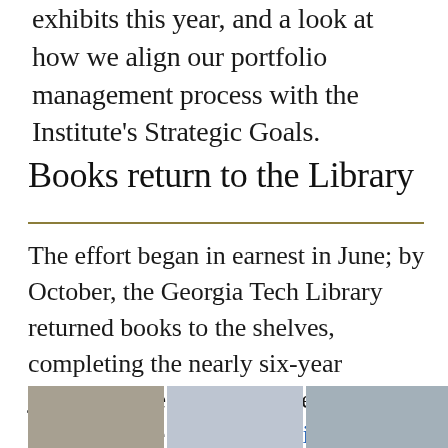exhibits this year, and a look at how we align our portfolio management process with the Institute's Strategic Goals.
Books return to the Library
The effort began in earnest in June; by October, the Georgia Tech Library returned books to the shelves, completing the nearly six-year journey since they all moved into cold storage at the Library Service Center.
[Figure (photo): A horizontal strip of three photos at the bottom of the page showing library-related scenes.]